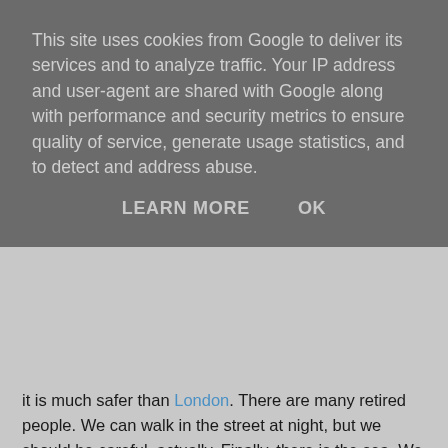This site uses cookies from Google to deliver its services and to analyze traffic. Your IP address and user-agent are shared with Google along with performance and security metrics to ensure quality of service, generate usage statistics, and to detect and address abuse.
LEARN MORE   OK
it is much safer than London. There are many retired people. We can walk in the street at night, but we should be careful, actually. Finally, there is the sea. We can go to the seaside anytime when we want. It is excellent to eat 'Fish and Chips' ,which is English tipical food, looking at sea on the beach when it is sunny. There is an interesting thing that many seagulls would come to us when we eat it. On the other hand, there are some disadvantages. We could get bored in such a small town, and it is too limited to go shopping. However, we know it is up to us for making our life here lively, and we can find somthing to enjoy ourselves.
While we are staying in Eastbourne, we have met many people. They are nice, kind and warm. Nice weather. Sea.